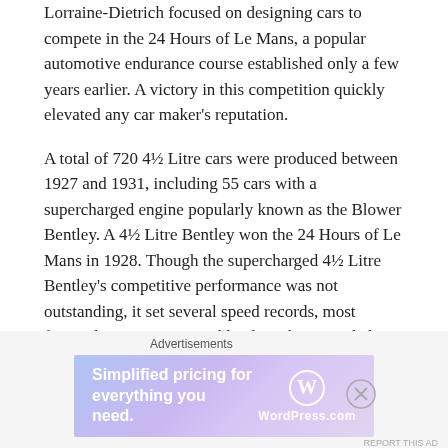Lorraine-Dietrich focused on designing cars to compete in the 24 Hours of Le Mans, a popular automotive endurance course established only a few years earlier. A victory in this competition quickly elevated any car maker's reputation.
A total of 720 4½ Litre cars were produced between 1927 and 1931, including 55 cars with a supercharged engine popularly known as the Blower Bentley. A 4½ Litre Bentley won the 24 Hours of Le Mans in 1928. Though the supercharged 4½ Litre Bentley's competitive performance was not outstanding, it set several speed records, most famously in 1932 at Brooklands with a recorded speed of 222.03 km/h (138 mph)." source: http://en.wikipedia.org/wiki/Bentley_4%C2%BD_Litre
[Figure (other): WordPress.com advertisement banner: 'Simplified pricing for everything you need.' with WordPress.com logo, displayed below the main article text.]